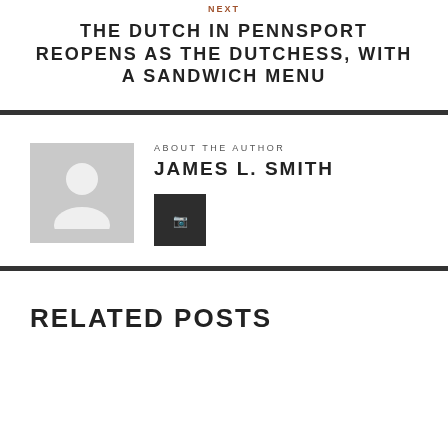NEXT
THE DUTCH IN PENNSPORT REOPENS AS THE DUTCHESS, WITH A SANDWICH MENU
ABOUT THE AUTHOR
JAMES L. SMITH
[Figure (other): Author avatar placeholder with person silhouette icon in grey square]
[Figure (other): Dark social media icon button]
RELATED POSTS